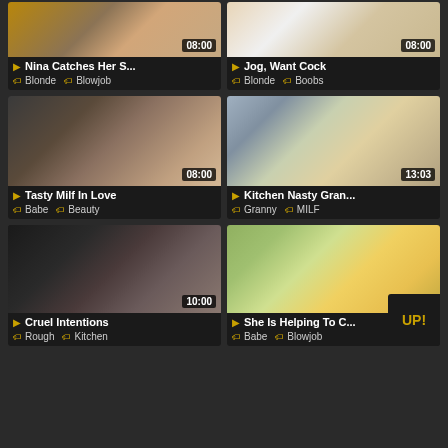[Figure (screenshot): Video thumbnail grid showing adult video listings with titles, durations, and category tags]
Nina Catches Her S... | 08:00 | Blonde, Blowjob
Jog, Want Cock | 08:00 | Blonde, Boobs
Tasty Milf In Love | 08:00 | Babe, Beauty
Kitchen Nasty Gran... | 13:03 | Granny, MILF
Cruel Intentions | 10:00 | Rough, Kitchen
She Is Helping To C... | 09:00 | Babe, Blowjob